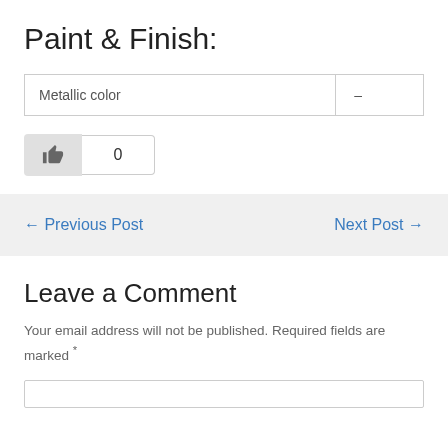Paint & Finish:
| Metallic color | – |
[Figure (other): Like button with thumbs up icon and count of 0]
← Previous Post    Next Post →
Leave a Comment
Your email address will not be published. Required fields are marked *